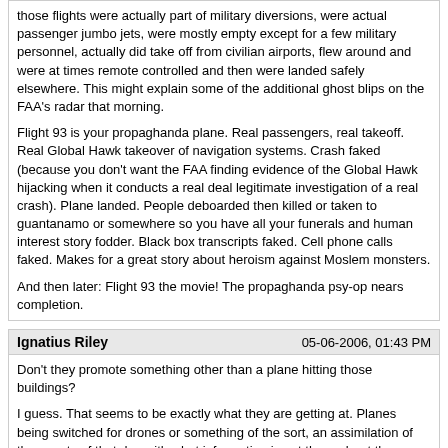those flights were actually part of military diversions, were actual passenger jumbo jets, were mostly empty except for a few military personnel, actually did take off from civilian airports, flew around and were at times remote controlled and then were landed safely elsewhere. This might explain some of the additional ghost blips on the FAA's radar that morning.

Flight 93 is your propaghanda plane. Real passengers, real takeoff. Real Global Hawk takeover of navigation systems. Crash faked (because you don't want the FAA finding evidence of the Global Hawk hijacking when it conducts a real deal legitimate investigation of a real crash). Plane landed. People deboarded then killed or taken to guantanamo or somewhere so you have all your funerals and human interest story fodder. Black box transcripts faked. Cell phone calls faked. Makes for a great story about heroism against Moslem monsters.

And then later: Flight 93 the movie! The propaghanda psy-op nears completion.
Ignatius Riley
05-06-2006, 01:43 PM
Don't they promote something other than a plane hitting those buildings?

I guess. That seems to be exactly what they are getting at. Planes being switched for drones or something of the sort, an assimilation of the events of that day with what information is out there about the National Recognaissance Office conducting war game exercises wherein planes are remote controlled into buildings.

To be honest, bro, I originally went to the site bc it was trumpeted as a scout for military war games. I wanted to see what was coming up.
Gold9472
05-06-2006, 01:45 PM
The pentagon wasn't hit by a boeing passenger jumbo jet, a 757.

What I'm about to present to you is what they're telling us. If you think the idea